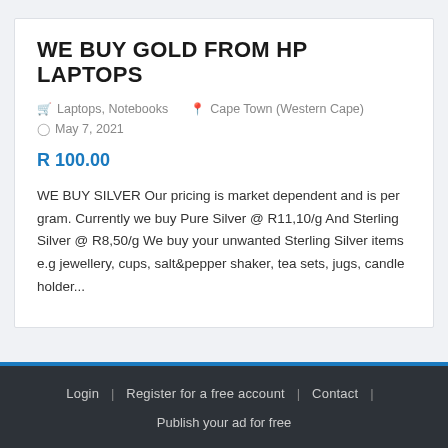WE BUY GOLD FROM HP LAPTOPS
🛒 Laptops, Notebooks   📍 Cape Town (Western Cape)
🕐 May 7, 2021
R 100.00
WE BUY SILVER Our pricing is market dependent and is per gram. Currently we buy Pure Silver @ R11,10/g And Sterling Silver @ R8,50/g We buy your unwanted Sterling Silver items e.g jewellery, cups, salt&pepper shaker, tea sets, jugs, candle holder...
Login | Register for a free account | Contact | Publish your ad for free